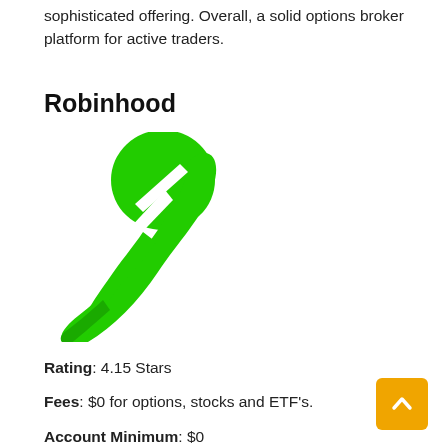sophisticated offering. Overall, a solid options broker platform for active traders.
Robinhood
[Figure (logo): Robinhood green feather logo]
Rating: 4.15 Stars
Fees: $0 for options, stocks and ETF's.
Account Minimum: $0
Pros: Easy to use mobile trading app, fractional shares,